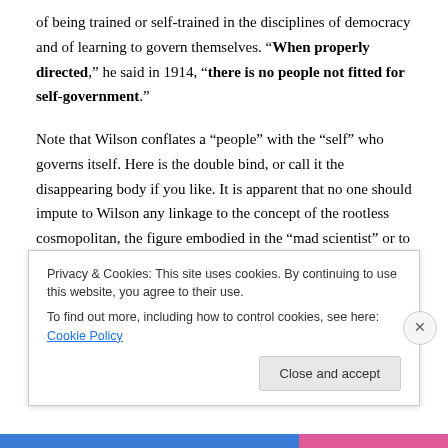of being trained or self-trained in the disciplines of democracy and of learning to govern themselves. “When properly directed,” he said in 1914, “there is no people not fitted for self-government.”
Note that Wilson conflates a “people” with the “self” who governs itself. Here is the double bind, or call it the disappearing body if you like. It is apparent that no one should impute to Wilson any linkage to the concept of the rootless cosmopolitan, the figure embodied in the “mad scientist” or to the Adam Smithian participant in market
Privacy & Cookies: This site uses cookies. By continuing to use this website, you agree to their use.
To find out more, including how to control cookies, see here: Cookie Policy
Close and accept